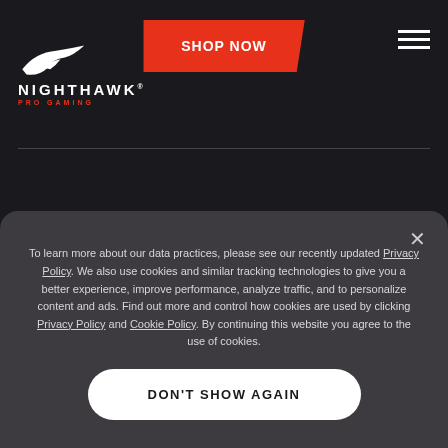[Figure (logo): Nighthawk Pro Gaming logo with bird/hawk icon, white NIGHTHAWK text, and red PRO GAMING text]
SHOP NOW
[Figure (illustration): Hamburger menu icon (three horizontal white lines)]
MyNETGEAR
CUSTOMER CARE
To learn more about our data practices, please see our recently updated Privacy Policy. We also use cookies and similar tracking technologies to give you a better experience, improve performance, analyze traffic, and to personalize content and ads. Find out more and control how cookies are used by clicking Privacy Policy and Cookie Policy. By continuing this website you agree to the use of cookies.
DON'T SHOW AGAIN